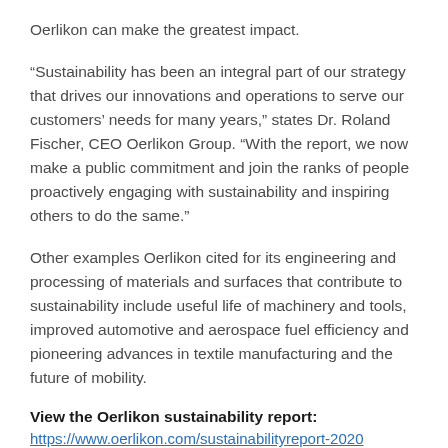Oerlikon can make the greatest impact.
“Sustainability has been an integral part of our strategy that drives our innovations and operations to serve our customers’ needs for many years,” states Dr. Roland Fischer, CEO Oerlikon Group. “With the report, we now make a public commitment and join the ranks of people proactively engaging with sustainability and inspiring others to do the same.”
Other examples Oerlikon cited for its engineering and processing of materials and surfaces that contribute to sustainability include useful life of machinery and tools, improved automotive and aerospace fuel efficiency and pioneering advances in textile manufacturing and the future of mobility.
View the Oerlikon sustainability report:
https://www.oerlikon.com/sustainabilityreport-2020